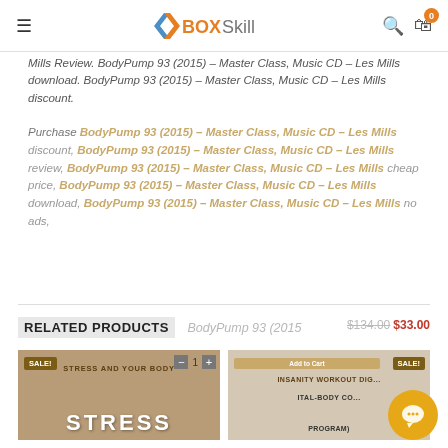BOXSkill - navigation header with hamburger menu, logo, search icon, and cart (0)
Mills Review. BodyPump 93 (2015) – Master Class, Music CD – Les Mills download. BodyPump 93 (2015) – Master Class, Music CD – Les Mills discount.
Purchase BodyPump 93 (2015) – Master Class, Music CD – Les Mills discount, BodyPump 93 (2015) – Master Class, Music CD – Les Mills review, BodyPump 93 (2015) – Master Class, Music CD – Les Mills cheap price, BodyPump 93 (2015) – Master Class, Music CD – Les Mills download, BodyPump 93 (2015) – Master Class, Music CD – Les Mills no ads,
RELATED PRODUCTS
BodyPump 93 (2015
$134.00 $33.00
[Figure (photo): Product card showing STRESS fitness product with SALE badge and quantity selector]
[Figure (photo): Product card showing INSANITY WORKOUT DIGITAL-BODY COMPLETE PROGRAM with SALE badge and Add to Cart button]